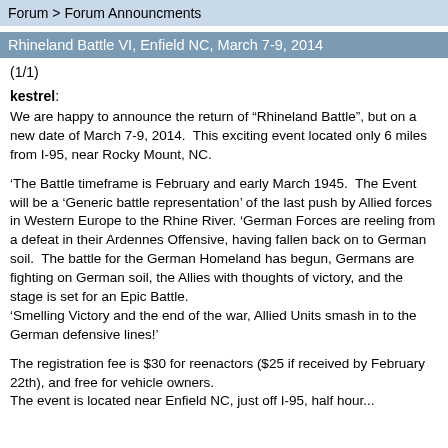Forum > Forum Announcments
Rhineland Battle VI, Enfield NC, March 7-9, 2014
(1/1)
kestrel:
We are happy to announce the return of “Rhineland Battle”, but on a new date of March 7-9, 2014.  This exciting event located only 6 miles from I-95, near Rocky Mount, NC.
‘The Battle timeframe is February and early March 1945.  The Event will be a ‘Generic battle representation’ of the last push by Allied forces in Western Europe to the Rhine River. ‘German Forces are reeling from a defeat in their Ardennes Offensive, having fallen back on to German soil.  The battle for the German Homeland has begun, Germans are fighting on German soil, the Allies with thoughts of victory, and the stage is set for an Epic Battle.
‘Smelling Victory and the end of the war, Allied Units smash in to the German defensive lines!’
The registration fee is $30 for reenactors ($25 if received by February 22th), and free for vehicle owners.
The event is located near Enfield NC, just off I-95, half hour...